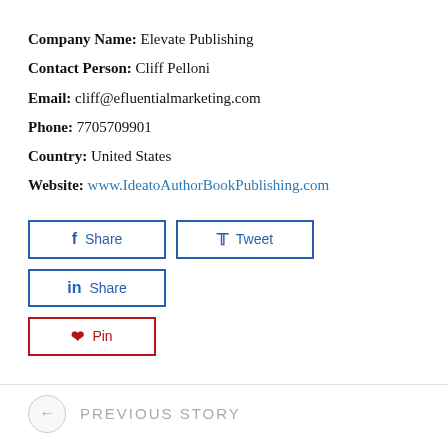Company Name: Elevate Publishing
Contact Person: Cliff Pelloni
Email: cliff@efluentialmarketing.com
Phone: 7705709901
Country: United States
Website: www.IdeatoAuthorBookPublishing.com
[Figure (other): Social share buttons: Facebook Share, Twitter Tweet, LinkedIn Share, Pinterest Pin]
← Previous Story
Next Story →